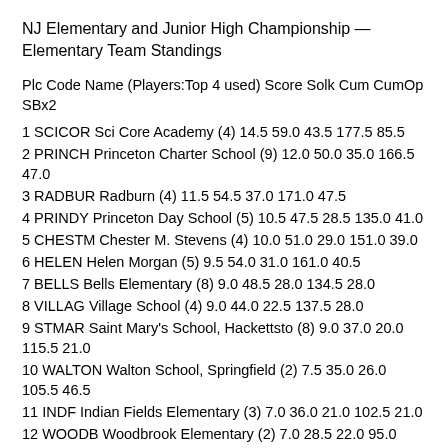NJ Elementary and Junior High Championship — Elementary Team Standings
Plc Code Name (Players:Top 4 used) Score Solk Cum CumOp SBx2
1 SCICOR Sci Core Academy (4) 14.5 59.0 43.5 177.5 85.5
2 PRINCH Princeton Charter School (9) 12.0 50.0 35.0 166.5 47.0
3 RADBUR Radburn (4) 11.5 54.5 37.0 171.0 47.5
4 PRINDY Princeton Day School (5) 10.5 47.5 28.5 135.0 41.0
5 CHESTM Chester M. Stevens (4) 10.0 51.0 29.0 151.0 39.0
6 HELEN Helen Morgan (5) 9.5 54.0 31.0 161.0 40.5
7 BELLS Bells Elementary (8) 9.0 48.5 28.0 134.5 28.0
8 VILLAG Village School (4) 9.0 44.0 22.5 137.5 28.0
9 STMAR Saint Mary's School, Hackettsto (8) 9.0 37.0 20.0 115.5 21.0
10 WALTON Walton School, Springfield (2) 7.5 35.0 26.0 105.5 46.5
11 INDF Indian Fields Elementary (3) 7.0 36.0 21.0 102.5 21.0
12 WOODB Woodbrook Elementary (2) 7.0 28.5 22.0 95.0 34.5